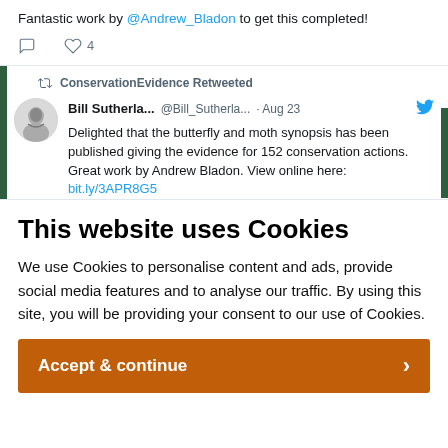Fantastic work by @Andrew_Bladon to get this completed!
ConservationEvidence Retweeted
Bill Sutherla... @Bill_Sutherla... · Aug 23 — Delighted that the butterfly and moth synopsis has been published giving the evidence for 152 conservation actions. Great work by Andrew Bladon. View online here: bit.ly/3APR8G5
This website uses Cookies
We use Cookies to personalise content and ads, provide social media features and to analyse our traffic. By using this site, you will be providing your consent to our use of Cookies.
Accept & continue